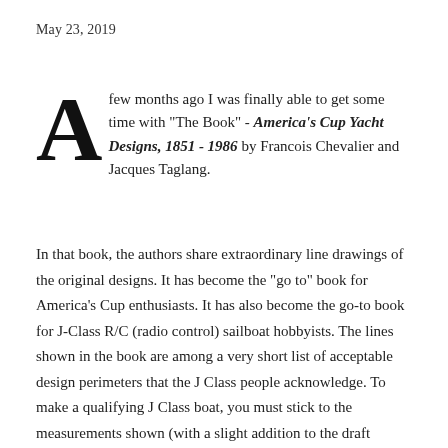May 23, 2019
A few months ago I was finally able to get some time with "The Book" - America's Cup Yacht Designs, 1851 - 1986 by Francois Chevalier and Jacques Taglang.
In that book, the authors share extraordinary line drawings of the original designs. It has become the "go to" book for America's Cup enthusiasts. It has also become the go-to book for J-Class R/C (radio control) sailboat hobbyists. The lines shown in the book are among a very short list of acceptable design perimeters that the J Class people acknowledge. To make a qualifying J Class boat, you must stick to the measurements shown (with a slight addition to the draft allowed to account for water not